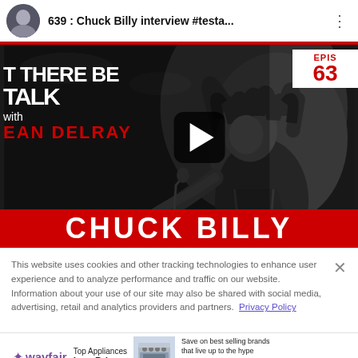[Figure (screenshot): YouTube video player showing episode 639 of 'Let There Be Talk with Dean Delray' podcast featuring Chuck Billy interview. Black and white photo of a long-haired rock musician leaning toward crowd. Red 'CHUCK BILLY' banner at bottom. Episode badge showing 'EPIS 63' in red top right. Play button visible center-right.]
This website uses cookies and other tracking technologies to enhance user experience and to analyze performance and traffic on our website. Information about your use of our site may also be shared with social media, advertising, retail and analytics providers and partners.  Privacy Policy
[Figure (infographic): Wayfair advertisement: 'Top Appliances Low Prices' with image of a stove/range appliance. Text: 'Save on best selling brands that live up to the hype'. Purple 'Shop now' button.]